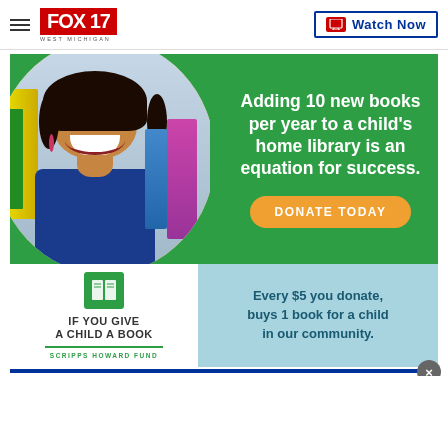FOX 17 WEST MICHIGAN — Watch Now
[Figure (infographic): Scripps Howard Fund 'If You Give a Child a Book' donation advertisement. Features a smiling young Black girl holding books against a green background. Text reads: 'Adding 10 new books per year to a child's home library is an equation for success.' with an orange 'DONATE TODAY' button. Bottom section shows the organization logo on white left panel and light blue right panel with text: 'Every $5 you donate, buys 1 book for a child in our community.']